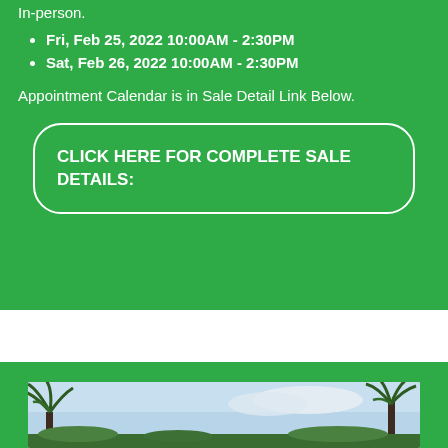In-person.
Fri, Feb 25, 2022 10:00AM - 2:30PM
Sat, Feb 26, 2022 10:00AM - 2:30PM
Appointment Calendar is in Sale Detail Link Below.
CLICK HERE FOR COMPLETE SALE DETAILS:
[Figure (photo): Outdoor photo showing palm trees against a partly cloudy sky]